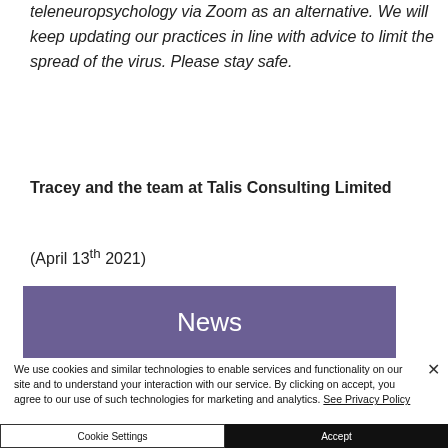teleneuropsychology via Zoom as an alternative. We will keep updating our practices in line with advice to limit the spread of the virus. Please stay safe.
Tracey and the team at Talis Consulting Limited
(April 13th 2021)
News
We use cookies and similar technologies to enable services and functionality on our site and to understand your interaction with our service. By clicking on accept, you agree to our use of such technologies for marketing and analytics. See Privacy Policy